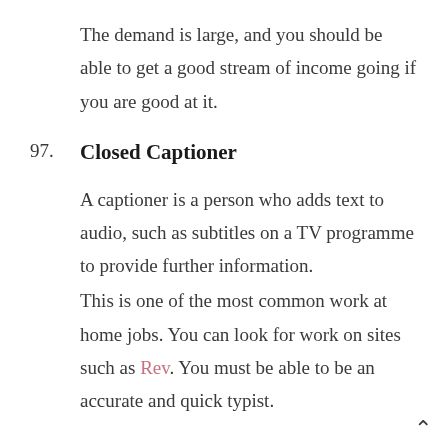The demand is large, and you should be able to get a good stream of income going if you are good at it.
97. Closed Captioner
A captioner is a person who adds text to audio, such as subtitles on a TV programme to provide further information.
This is one of the most common work at home jobs. You can look for work on sites such as Rev. You must be able to be an accurate and quick typist.